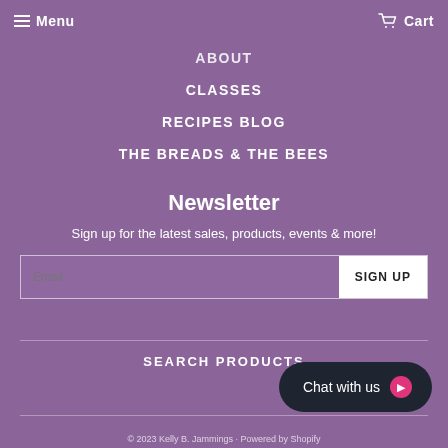Menu   Cart
ABOUT
CLASSES
RECIPES BLOG
THE BREADS & THE BEES
Newsletter
Sign up for the latest sales, products, events & more!
SIGN UP
SEARCH PRODUCTS
Chat with us
© 2023 Kelly B. Jammings · Powered by Shopify